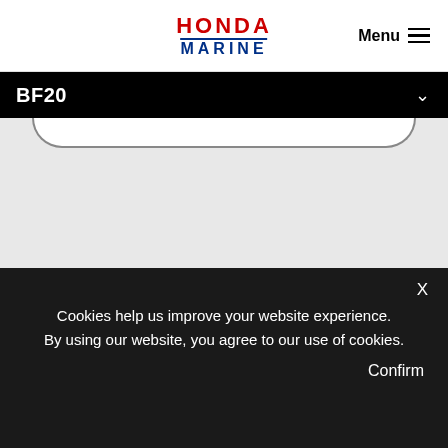HONDA MARINE | Menu
BF20
[Figure (photo): Partial view of the bottom of a Honda BF20 outboard motor on a light grey background]
With a high output 350cc displacement and long-stroke design, the BF20 is a top performer, providing optimum torque at any speed. Programmed Ignition (PGM-IG) also accurately controls ignition timing during start-up and
Cookies help us improve your website experience. By using our website, you agree to our use of cookies. Confirm